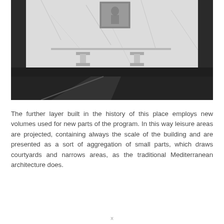[Figure (photo): Interior architectural photograph showing a marble-clad wall with chrome faucet fixtures and a dark-framed bathtub or basin. The marble has grey veining on a white background. Two square chrome spout fixtures are mounted on the marble. A small framed photo or mirror is visible in the upper portion. The lower area shows a dark matte black tub surround.]
The further layer built in the history of this place employs new volumes used for new parts of the program. In this way leisure areas are projected, containing always the scale of the building and are presented as a sort of aggregation of small parts, which draws courtyards and narrows areas, as the traditional Mediterranean architecture does.
x